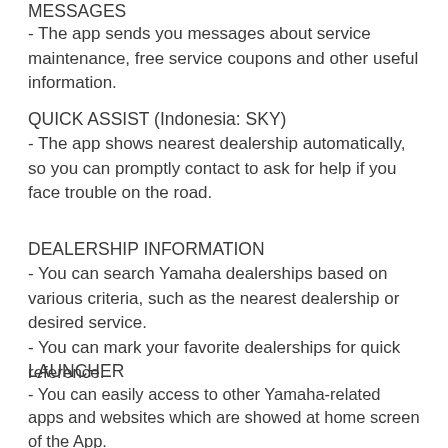MESSAGES
- The app sends you messages about service maintenance, free service coupons and other useful information.
QUICK ASSIST (Indonesia: SKY)
- The app shows nearest dealership automatically, so you can promptly contact to ask for help if you face trouble on the road.
DEALERSHIP INFORMATION
- You can search Yamaha dealerships based on various criteria, such as the nearest dealership or desired service.
- You can mark your favorite dealerships for quick reference.
LAUNCHER
- You can easily access to other Yamaha-related apps and websites which are showed at home screen of the App.
SETTING
- You can check your profile, refer to list of FAQs. If it's necessary, you can contact to Yamaha Call Center via the app.
--------------------